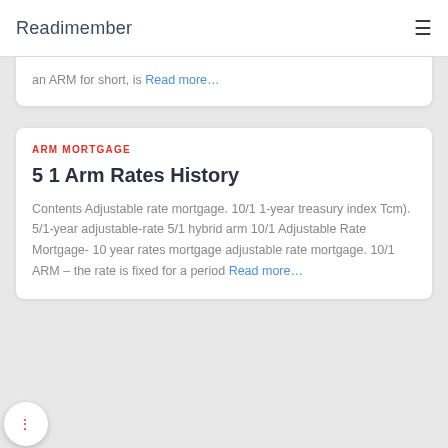Readimember
an ARM for short, is Read more…
ARM MORTGAGE
5 1 Arm Rates History
Contents Adjustable rate mortgage. 10/1 1-year treasury index Tcm). 5/1-year adjustable-rate 5/1 hybrid arm 10/1 Adjustable Rate Mortgage- 10 year rates mortgage adjustable rate mortgage. 10/1 ARM – the rate is fixed for a period Read more…